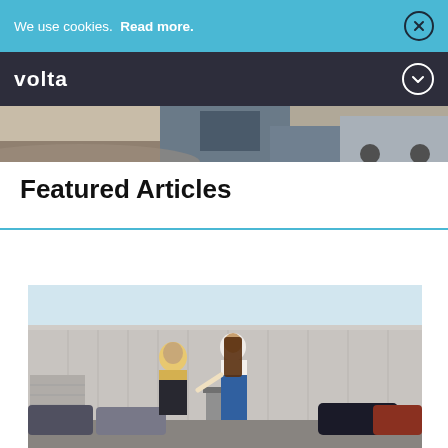We use cookies.  Read more.
volta
[Figure (photo): Hero image strip showing a partial view of a car and pavement scene]
Featured Articles
[Figure (photo): Two people (a man in a yellow shirt and a woman with long brown hair in a white top) walking and smiling in a parking lot in front of a large warehouse building with cars parked behind them]